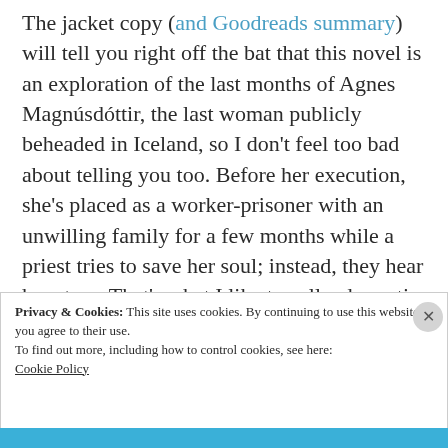The jacket copy (and Goodreads summary) will tell you right off the bat that this novel is an exploration of the last months of Agnes Magnúsdóttir, the last woman publicly beheaded in Iceland, so I don't feel too bad about telling you too. Before her execution, she's placed as a worker-prisoner with an unwilling family for a few months while a priest tries to save her soul; instead, they hear her story. That's what I like to call a dramatic situation.
Privacy & Cookies: This site uses cookies. By continuing to use this website, you agree to their use.
To find out more, including how to control cookies, see here: Cookie Policy